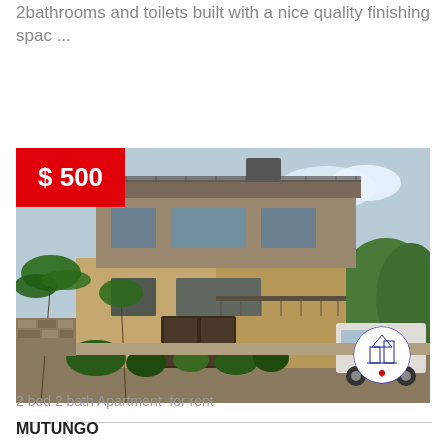2bathrooms and toilets built with a nice quality finishing spac ...
more info
[Figure (photo): Two-storey apartment building with palm trees, a gate, and a white van parked outside. A red price badge showing $ 500 is overlaid in the top-left corner. A blue circular logo is overlaid in the bottom-right corner.]
2 bed 2 bath Apartment  for rent
MUTUNGO